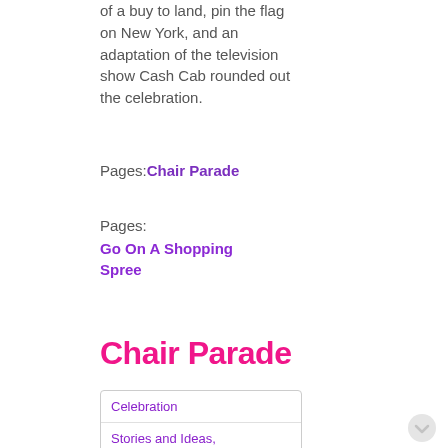of a buy to land, pin the flag on New York, and an adaptation of the television show Cash Cab rounded out the celebration.
Pages: Chair Parade
Pages: Go On A Shopping Spree
Chair Parade
| Celebration |
| Stories and Ideas, |
| Focus on Fun |